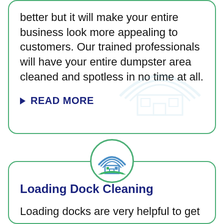better but it will make your entire business look more appealing to customers. Our trained professionals will have your entire dumpster area cleaned and spotless in no time at all.
READ MORE
[Figure (logo): House/roof logo with blue and green lines inside a green circle]
Loading Dock Cleaning
Loading docks are very helpful to get